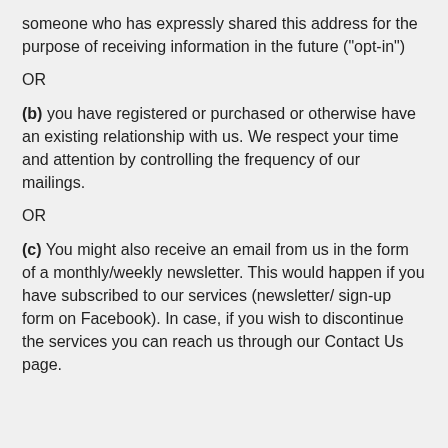someone who has expressly shared this address for the purpose of receiving information in the future ("opt-in")
OR
(b) you have registered or purchased or otherwise have an existing relationship with us. We respect your time and attention by controlling the frequency of our mailings.
OR
(c) You might also receive an email from us in the form of a monthly/weekly newsletter. This would happen if you have subscribed to our services (newsletter/ sign-up form on Facebook). In case, if you wish to discontinue the services you can reach us through our Contact Us page.